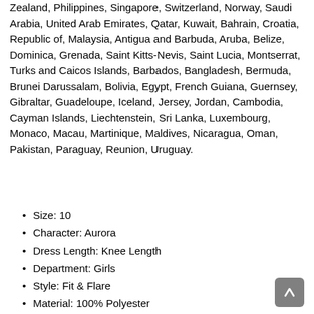Zealand, Philippines, Singapore, Switzerland, Norway, Saudi Arabia, United Arab Emirates, Qatar, Kuwait, Bahrain, Croatia, Republic of, Malaysia, Antigua and Barbuda, Aruba, Belize, Dominica, Grenada, Saint Kitts-Nevis, Saint Lucia, Montserrat, Turks and Caicos Islands, Barbados, Bangladesh, Bermuda, Brunei Darussalam, Bolivia, Egypt, French Guiana, Guernsey, Gibraltar, Guadeloupe, Iceland, Jersey, Jordan, Cambodia, Cayman Islands, Liechtenstein, Sri Lanka, Luxembourg, Monaco, Macau, Martinique, Maldives, Nicaragua, Oman, Pakistan, Paraguay, Reunion, Uruguay.
Size: 10
Character: Aurora
Dress Length: Knee Length
Department: Girls
Style: Fit & Flare
Material: 100% Polyester
Theme: Castle, Cartoon, TV & Movie Characters
Color: Purple
Character Family: Sleeping beauty